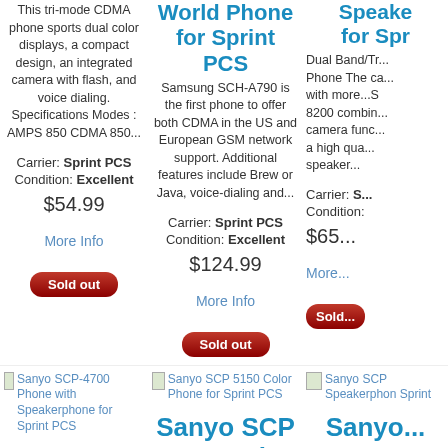This tri-mode CDMA phone sports dual color displays, a compact design, an integrated camera with flash, and voice dialing. Specifications Modes : AMPS 850 CDMA 850...
Carrier: Sprint PCS
Condition: Excellent
$54.99
More Info
Sold out
World Phone for Sprint PCS
Samsung SCH-A790 is the first phone to offer both CDMA in the US and European GSM network support. Additional features include Brew or Java, voice-dialing and...
Carrier: Sprint PCS
Condition: Excellent
$124.99
More Info
Sold out
Speaker for Spr...
Dual Band/Tr... Phone The ca... with more...S 8200 combin... camera func... a high qua... speaker...
Carrier: S...
Condition:
$65...
More...
Sold...
[Figure (photo): Sanyo SCP-4700 Phone with Speakerphone for Sprint PCS thumbnail]
Sanyo SCP-4700 Phone with Speakerphone for Sprint PCS
[Figure (photo): Sanyo SCP 5150 Color Phone for Sprint PCS thumbnail]
Sanyo SCP 5150 Color Phone for Sprint PCS
[Figure (photo): Sanyo SCP Speakerphone Sprint thumbnail]
Sanyo SCP Speakerphone Sprint
Sanyo SCP- 4700 Pho...
Sanyo SCP 5150 Color
Sanyo...